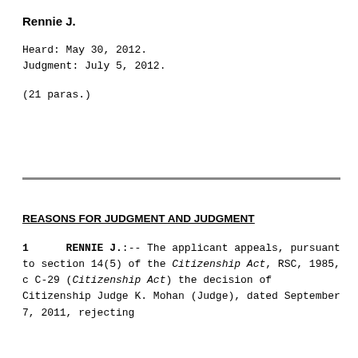Rennie J.
Heard: May 30, 2012.
Judgment: July 5, 2012.
(21 paras.)
REASONS FOR JUDGMENT AND JUDGMENT
1     RENNIE J.:-- The applicant appeals, pursuant to section 14(5) of the Citizenship Act, RSC, 1985, c C-29 (Citizenship Act) the decision of Citizenship Judge K. Mohan (Judge), dated September 7, 2011, rejecting